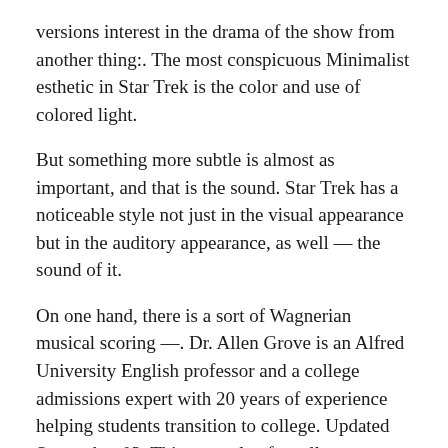versions interest in the drama of the show from another thing:. The most conspicuous Minimalist esthetic in Star Trek is the color and use of colored light.
But something more subtle is almost as important, and that is the sound. Star Trek has a noticeable style not just in the visual appearance but in the auditory appearance, as well — the sound of it.
On one hand, there is a sort of Wagnerian musical scoring —. Dr. Allen Grove is an Alfred University English professor and a college admissions expert with 20 years of experience helping students transition to college. Updated September 03, This example of a college admissions personal essay fits option #1 of the current Common Application: "Some.
Mar 20,  · Set in a dilapidated Veterans Administration hospital, Article 99 may be the first medical melodrama that isn't about dedicated physicians performing life-saving acts of valor. It's about. Critique is an alteration of an archaic word that referred generally to hel matter. corpus itself dates to the early 18th